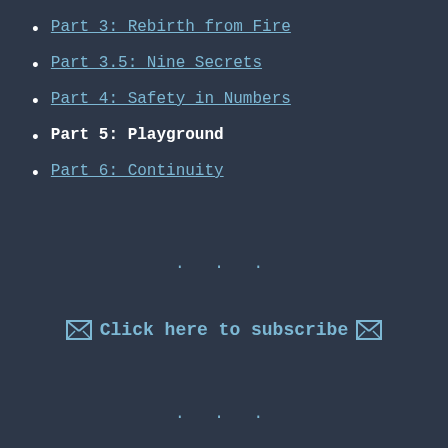Part 3: Rebirth from Fire
Part 3.5: Nine Secrets
Part 4: Safety in Numbers
Part 5: Playground
Part 6: Continuity
· · ·
✉ Click here to subscribe ✉
· · ·